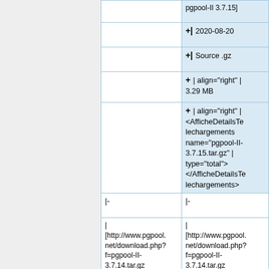|  | pgpool-II 3.7.15] |
|  | +| 2020-08-20 |
|  | +| Source .gz |
|  | + | align="right" |
3.29 MB |
|  | + | align="right" |
<AfficheDetailsTe
lechargements
name="pgpool-II-
3.7.15.tar.gz" |
type="total">
</AfficheDetailsTe
lechargements> |
| |- | |- |
| |
[http://www.pgpool.
net/download.php?
f=pgpool-II-
3.7.14.tar.gz
pgpool-II 3.7.14] | |
[http://www.pgpool.
net/download.php?
f=pgpool-II-
3.7.14.tar.gz
pgpool-II 3.7.14] |